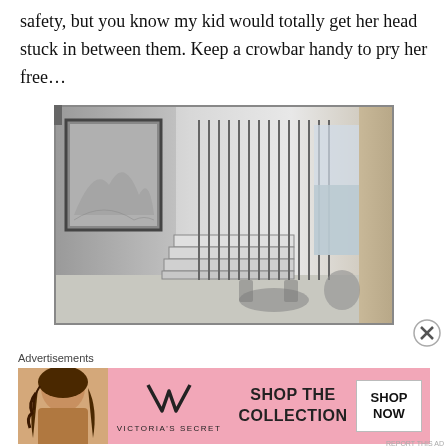safety, but you know my kid would totally get her head stuck in between them. Keep a crowbar handy to pry her free…
[Figure (photo): Black and white interior photograph showing a staircase with thin vertical metal rod railings, a framed artwork on the left wall, and a dining area visible through the railing, with a window to the right showing water/landscape outside.]
Advertisements
[Figure (other): Victoria's Secret advertisement banner with pink background showing a model, VS logo, 'SHOP THE COLLECTION' text, and a 'SHOP NOW' button.]